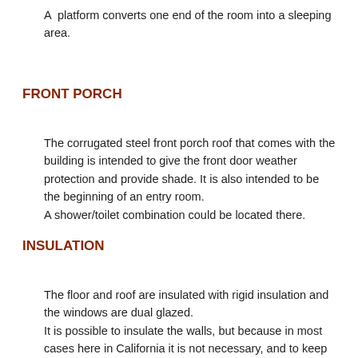A platform converts one end of the room into a sleeping area.
FRONT PORCH
The corrugated steel front porch roof that comes with the building is intended to give the front door weather protection and provide shade. It is also intended to be the beginning of an entry room.
A shower/toilet combination could be located there.
INSULATION
The floor and roof are insulated with rigid insulation and the windows are dual glazed.
It is possible to insulate the walls, but because in most cases here in California it is not necessary, and to keep